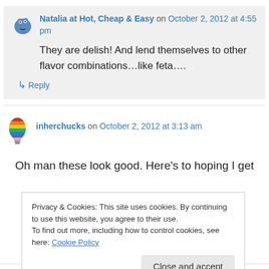Natalia at Hot, Cheap & Easy on October 2, 2012 at 4:55 pm
They are delish! And lend themselves to other flavor combinations…like feta….
↳ Reply
inherchucks on October 2, 2012 at 3:13 am
Oh man these look good. Here's to hoping I get
Privacy & Cookies: This site uses cookies. By continuing to use this website, you agree to their use.
To find out more, including how to control cookies, see here: Cookie Policy
Close and accept